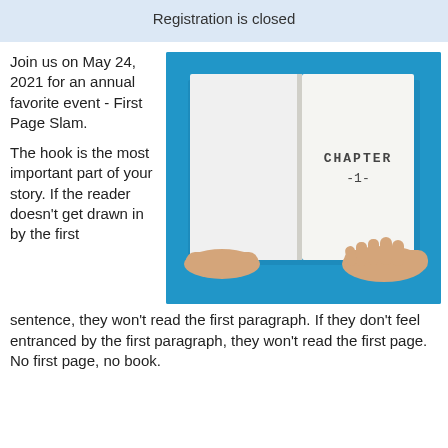Registration is closed
Join us on May 24, 2021 for an annual favorite event - First Page Slam.
[Figure (photo): Open book showing 'CHAPTER -1-' on right page, held by two hands, on blue background]
The hook is the most important part of your story. If the reader doesn't get drawn in by the first sentence, they won't read the first paragraph. If they don't feel entranced by the first paragraph, they won't read the first page. No first page, no book.